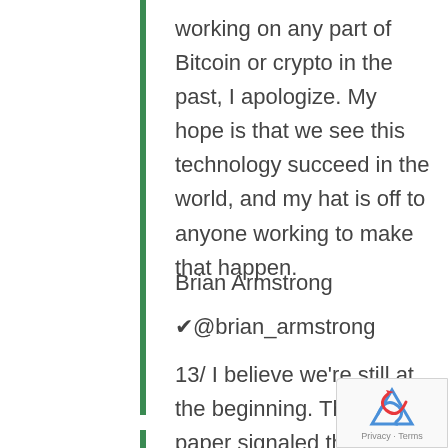working on any part of Bitcoin or crypto in the past, I apologize. My hope is that we see this technology succeed in the world, and my hat is off to anyone working to make that happen.
Brian Armstrong
✔@brian_armstrong
13/ I believe we're still at the beginning. The white paper signaled the start of a movement and the full promise of Bitcoin is still yet to be realized.